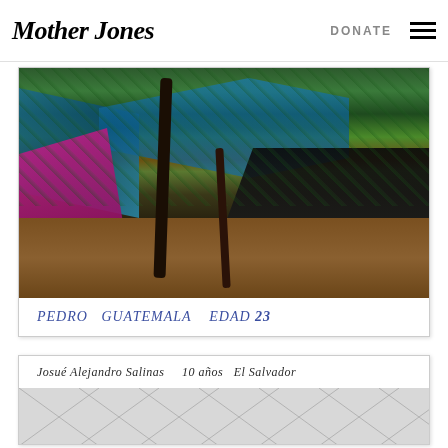Mother Jones | DONATE
[Figure (photo): Polaroid-style photograph of a makeshift refugee/migrant camp with blue and black tarps stretched between trees, a magenta/pink tent on the left, brown dirt ground. Handwritten caption below: PEDRO  GUATEMALA  EDAD 23]
PEDRO  GUATEMALA  EDAD 23
[Figure (photo): Partial polaroid-style photograph showing a white tent ceiling/structure from below, with geometric diamond/triangular pattern. Handwritten caption: Josué Alejandro Salinas  10 años  El Salvador]